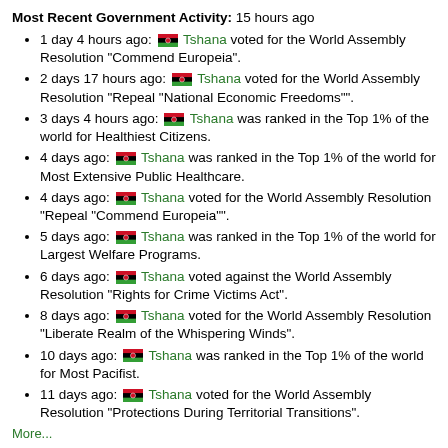Most Recent Government Activity: 15 hours ago
1 day 4 hours ago: [flag] Tshana voted for the World Assembly Resolution "Commend Europeia".
2 days 17 hours ago: [flag] Tshana voted for the World Assembly Resolution "Repeal "National Economic Freedoms"".
3 days 4 hours ago: [flag] Tshana was ranked in the Top 1% of the world for Healthiest Citizens.
4 days ago: [flag] Tshana was ranked in the Top 1% of the world for Most Extensive Public Healthcare.
4 days ago: [flag] Tshana voted for the World Assembly Resolution "Repeal "Commend Europeia"".
5 days ago: [flag] Tshana was ranked in the Top 1% of the world for Largest Welfare Programs.
6 days ago: [flag] Tshana voted against the World Assembly Resolution "Rights for Crime Victims Act".
8 days ago: [flag] Tshana voted for the World Assembly Resolution "Liberate Realm of the Whispering Winds".
10 days ago: [flag] Tshana was ranked in the Top 1% of the world for Most Pacifist.
11 days ago: [flag] Tshana voted for the World Assembly Resolution "Protections During Territorial Transitions".
More...
World Assembly
Endorsements Received: 97 » [flag] ReeK, [flag] A Slanted Black Stripe,